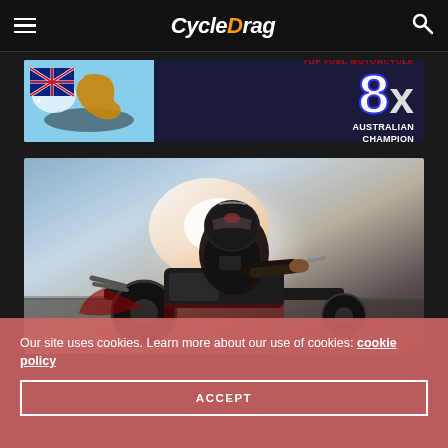CycleDrag navigation header with hamburger menu and search icon
[Figure (photo): Banner advertisement: Top Fuel Motorcycle 8x Australian Champion, with Australian flag and drag racing motorcycle image]
[Figure (photo): Drag racing motorcycle rider in full leather gear and helmet, riding a drag bike with flames/smoke in the background]
Our site uses cookies. Learn more about our use of cookies: cookie policy
ACCEPT